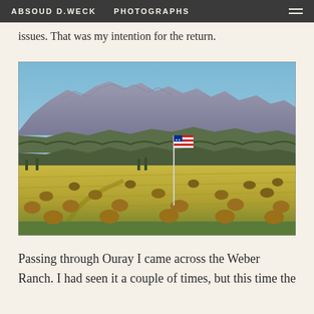ABSOUD D.WECK   PHOTOGRAPHS
issues. That was my intention for the return.
[Figure (photo): Landscape photograph showing a golden hay field with round bales in the foreground, an American flag on a tall pole in the middle distance, and a range of rugged mountains under a clear blue sky in the background.]
Passing through Ouray I came across the Weber Ranch. I had seen it a couple of times, but this time the